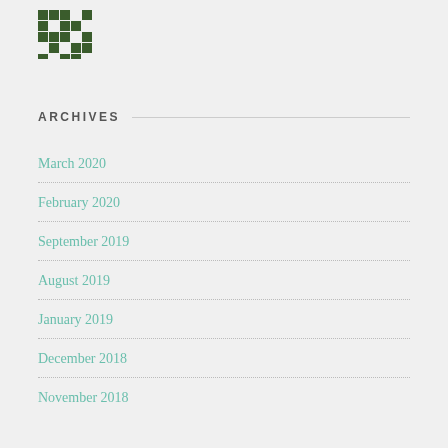[Figure (logo): Dark green pixelated/mosaic logo mark in upper left corner]
ARCHIVES
March 2020
February 2020
September 2019
August 2019
January 2019
December 2018
November 2018